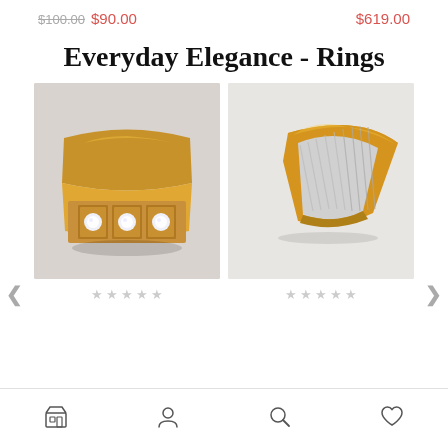$100.00 $90.00   $619.00
Everyday Elegance - Rings
[Figure (photo): Gold ring with three diamond stones set in rectangular bezels on a wide gold band]
[Figure (photo): Two-tone gold and silver ring with diagonal engraved stripe pattern, viewed at an angle]
★ ★ ★ ★ ★ (empty stars)
★ ★ ★ ★ ★ (empty stars)
Navigation bar with store, account, search, and wishlist icons